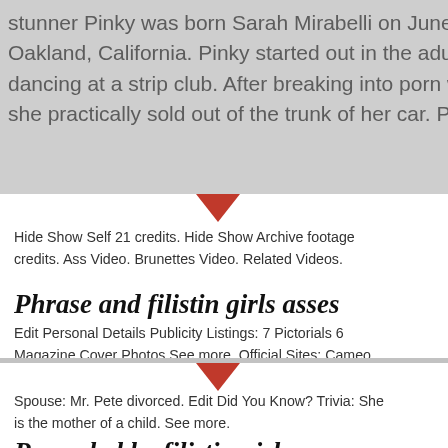stunner Pinky was born Sarah Mirabelli on June 24, in West Oakland, California. Pinky started out in the adult entertainment dancing at a strip club. After breaking into porn with an amateur she practically sold out of the trunk of her car. Pinky did her firs
Hide Show Self 21 credits. Hide Show Archive footage credits. Ass Video. Brunettes Video. Related Videos.
Phrase and filistin girls asses confirm
Edit Personal Details Publicity Listings: 7 Pictorials 6 Magazine Cover Photos See more. Official Sites: Cameo Facebook See more. Alternate Names: Alexis. Height: 5' 8" 1.
Spouse: Mr. Pete divorced. Edit Did You Know? Trivia: She is the mother of a child. See more.
Remarkable, filistin girls asses apologise, but